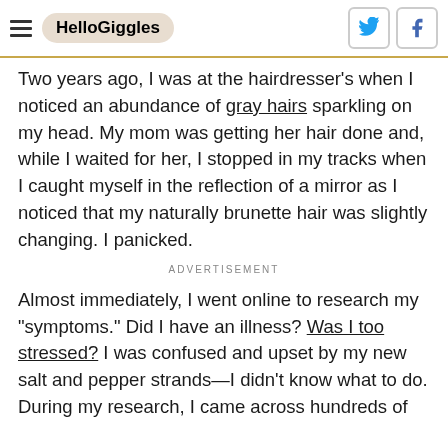HelloGiggles
Two years ago, I was at the hairdresser's when I noticed an abundance of gray hairs sparkling on my head. My mom was getting her hair done and, while I waited for her, I stopped in my tracks when I caught myself in the reflection of a mirror as I noticed that my naturally brunette hair was slightly changing. I panicked.
ADVERTISEMENT
Almost immediately, I went online to research my "symptoms." Did I have an illness? Was I too stressed? I was confused and upset by my new salt and pepper strands—I didn't know what to do. During my research, I came across hundreds of